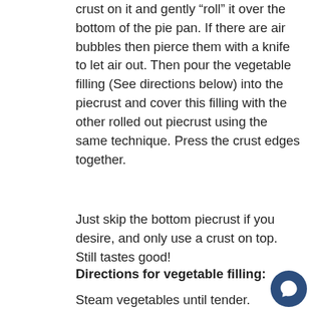crust on it and gently “roll” it over the bottom of the pie pan. If there are air bubbles then pierce them with a knife to let air out. Then pour the vegetable filling (See directions below) into the piecrust and cover this filling with the other rolled out piecrust using the same technique. Press the crust edges together.
Just skip the bottom piecrust if you desire, and only use a crust on top. Still tastes good!
Directions for vegetable filling:
Steam vegetables until tender.